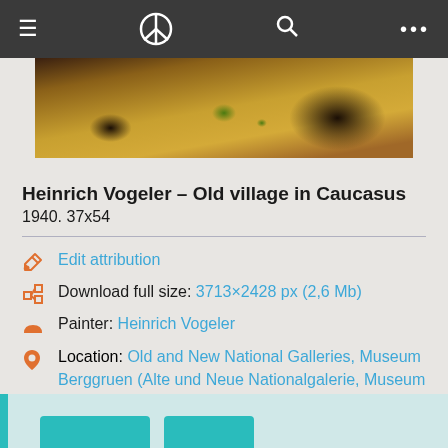≡ ☮ 🔍 ...
[Figure (photo): Partial view of a painting showing a warm golden-ochre landscape with dark earth tones, likely a rural Caucasus village scene by Heinrich Vogeler.]
Heinrich Vogeler – Old village in Caucasus
1940. 37x54
Edit attribution
Download full size: 3713×2428 px (2,6 Mb)
Painter: Heinrich Vogeler
Location: Old and New National Galleries, Museum Berggruen (Alte und Neue Nationalgalerie, Museum Berggruen), Berlin.